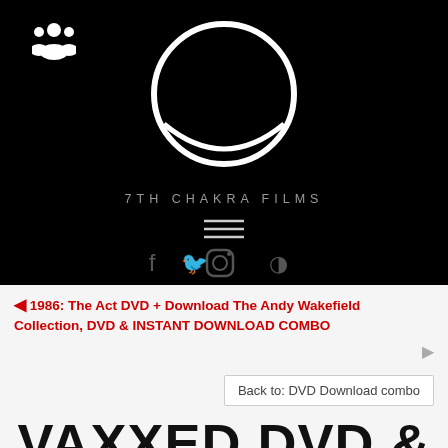[Figure (logo): 7th Chakra Films website header with black background, circular logo (white ring/circle outline), people icon in top left, site name '7TH CHAKRA FILMS', hamburger menu lines, and social media icons (Facebook, Twitter, Instagram, and another icon)]
← 1986: The Act DVD + Download The Andy Wakefield Collection, DVD & INSTANT DOWNLOAD COMBO →
Back to: DVD Download combo
VAXXED DVD &